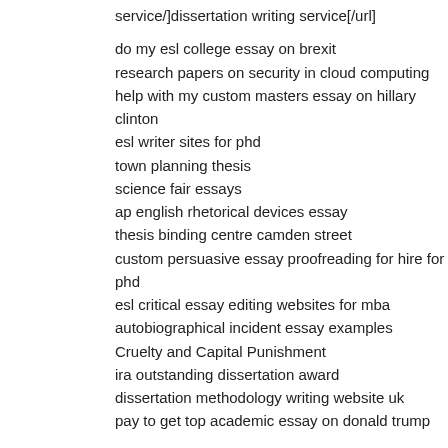service/]dissertation writing service[/url]
do my esl college essay on brexit
research papers on security in cloud computing
help with my custom masters essay on hillary clinton
esl writer sites for phd
town planning thesis
science fair essays
ap english rhetorical devices essay
thesis binding centre camden street
custom persuasive essay proofreading for hire for phd
esl critical essay editing websites for mba
autobiographical incident essay examples
Cruelty and Capital Punishment
ira outstanding dissertation award
dissertation methodology writing website uk
pay to get top academic essay on donald trump